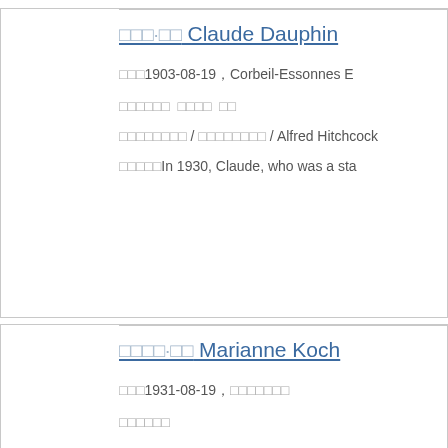□□□·□□ Claude Dauphin
□□□1903-08-19 , Corbeil-Essonnes E
□□□□□□  □□□□  □□
□□□□□□□□ / □□□□□□□□ / Alfred Hitchcock
□□□□□In 1930, Claude, who was a sta
□□□□·□□ Marianne Koch
□□□1931-08-19 , □□□□□□□